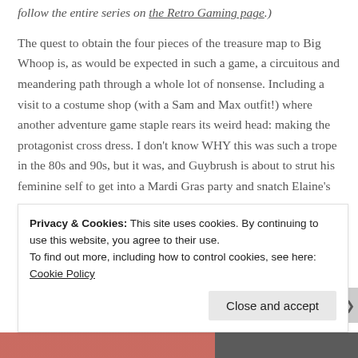follow the entire series on the Retro Gaming page.)
The quest to obtain the four pieces of the treasure map to Big Whoop is, as would be expected in such a game, a circuitous and meandering path through a whole lot of nonsense. Including a visit to a costume shop (with a Sam and Max outfit!) where another adventure game staple rears its weird head: making the protagonist cross dress. I don’t know WHY this was such a trope in the 80s and 90s, but it was, and Guybrush is about to strut his feminine self to get into a Mardi Gras party and snatch Elaine’s man
Privacy & Cookies: This site uses cookies. By continuing to use this website, you agree to their use.
To find out more, including how to control cookies, see here: Cookie Policy
Close and accept